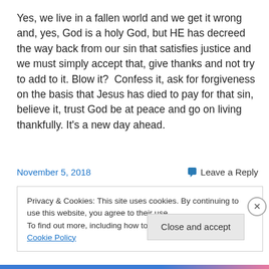Yes, we live in a fallen world and we get it wrong and, yes, God is a holy God, but HE has decreed the way back from our sin that satisfies justice and we must simply accept that, give thanks and not try to add to it. Blow it?  Confess it, ask for forgiveness on the basis that Jesus has died to pay for that sin, believe it, trust God be at peace and go on living thankfully. It's a new day ahead.
November 5, 2018
Leave a Reply
Privacy & Cookies: This site uses cookies. By continuing to use this website, you agree to their use.
To find out more, including how to control cookies, see here: Cookie Policy